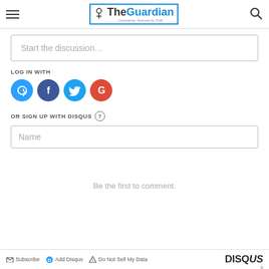TheGuardian — Conscience, Nurtured by Truth
Start the discussion…
LOG IN WITH
[Figure (logo): Social login icons: Disqus (blue), Facebook (dark blue), Twitter (light blue), Google (red)]
OR SIGN UP WITH DISQUS ?
Name
Be the first to comment.
Subscribe   Add Disqus   Do Not Sell My Data   DISQUS   x